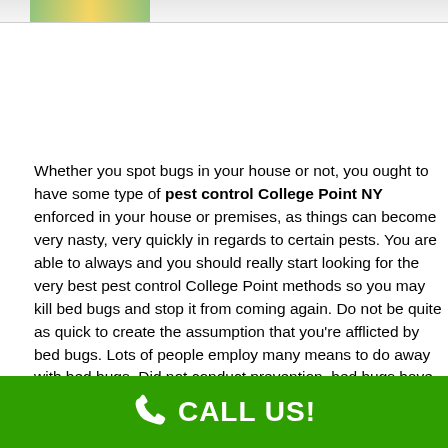[Figure (photo): Top portion of an image showing a pest control related graphic with green and yellow colors]
Whether you spot bugs in your house or not, you ought to have some type of pest control College Point NY enforced in your house or premises, as things can become very nasty, very quickly in regards to certain pests. You are able to always and you should really start looking for the very best pest control College Point methods so you may kill bed bugs and stop it from coming again. Do not be quite as quick to create the assumption that you're afflicted by bed bugs. Lots of people employ many means to do away with bed bugs. Did not conduct prevention, bed bugs have the chance to return. When it regards killing bed bugs, you need to be able to incorporate natural methods along with the assistance of
CALL US!